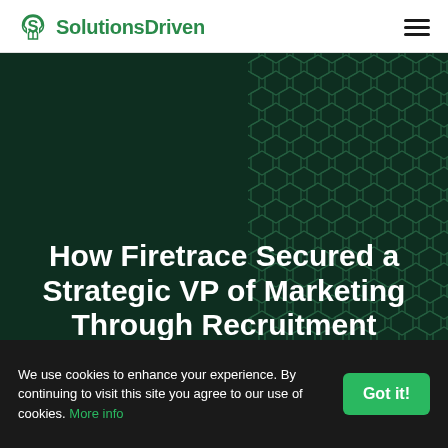SolutionsDriven
[Figure (illustration): Dark green hero banner with hexagonal dot pattern on the right side. Contains the article title text overlaid on the dark background.]
How Firetrace Secured a Strategic VP of Marketing Through Recruitment Process
We use cookies to enhance your experience. By continuing to visit this site you agree to our use of cookies. More info